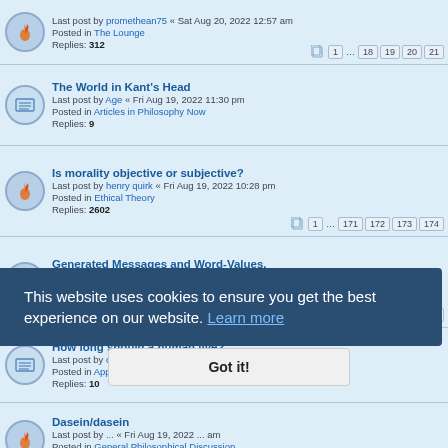Last post by promethean75 « Sat Aug 20, 2022 12:57 am | Posted in The Lounge | Replies: 312 | Pages: 1 ... 18 19 20 21
The World in Kant's Head | Last post by Age « Fri Aug 19, 2022 11:30 pm | Posted in Articles in Philosophy Now | Replies: 9
Is morality objective or subjective? | Last post by henry quirk « Fri Aug 19, 2022 10:28 pm | Posted in Ethical Theory | Replies: 2602 | Pages: 1 ... 171 172 173 174
Generated Messages and Word-Values. | Last post by VVilliam « Fri Aug 19, 2022 10:17 pm | Posted in Philosophy of Science | Replies: 225 | Pages: 1 ... 13 14 15 16
How long should a human live? | Last post by commonsense « Fri Aug 19, 2022 9:19 pm | Posted in Applied Ethics | Replies: 10
Dasein/dasein | Last post by ... « Fri Aug 19, 2022 ... am | Posted in General Philosophical Discussion | Replies: 195 | Pages: 1 ... 11 12 13 14
Quote of the day | Last post by iambiguous « Fri Aug 19, 2022 9:00 pm | Posted in The Lounge | Replies: 783 | Pages: 1 ... 50 51 52 53
This website uses cookies to ensure you get the best experience on our website. Learn more
Got it!